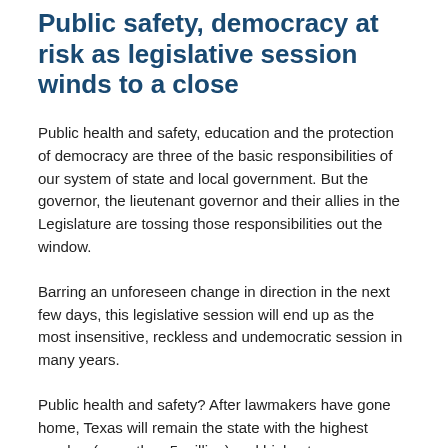Public safety, democracy at risk as legislative session winds to a close
Public health and safety, education and the protection of democracy are three of the basic responsibilities of our system of state and local government. But the governor, the lieutenant governor and their allies in the Legislature are tossing those responsibilities out the window.
Barring an unforeseen change in direction in the next few days, this legislative session will end up as the most insensitive, reckless and undemocratic session in many years.
Public health and safety? After lawmakers have gone home, Texas will remain the state with the highest number (more than 5 million) and highest